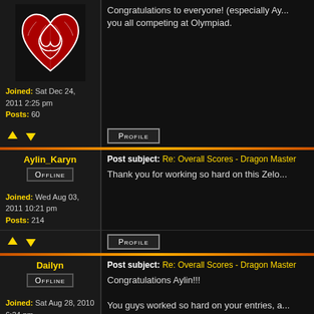[Figure (illustration): Celtic knotwork heart avatar in red and white on black background]
Congratulations to everyone! (especially Ay... you all competing at Olympiad.
Joined: Sat Dec 24, 2011 2:25 pm
Posts: 60
PROFILE
Aylin_Karyn
Post subject: Re: Overall Scores - Dragon Master
OFFLINE
Thank you for working so hard on this Zelo...
Joined: Wed Aug 03, 2011 10:21 pm
Posts: 214
PROFILE
Dailyn
Post subject: Re: Overall Scores - Dragon Master
OFFLINE
Congratulations Aylin!!!
You guys worked so hard on your entries, a...
Joined: Sat Aug 28, 2010 6:24 pm
Posts: 250
PROFILE